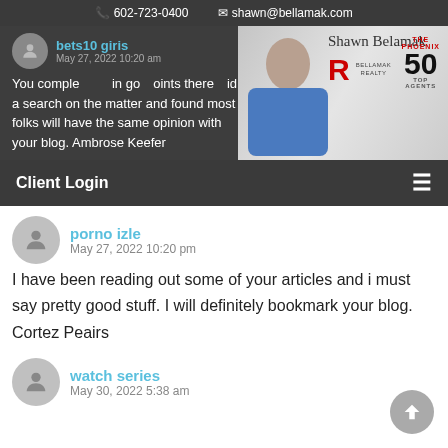602-723-0400  shawn@bellamak.com
bets10 giris
May 27, 2022 10:20 am
You completely made in good points there did a search on the matter and found most folks will have the same opinion with your blog. Ambrose Keefer
[Figure (photo): Shawn Bellamak agent promo banner with Phoenix 50 Top Agents badge]
Client Login
porno izle
May 27, 2022 10:20 pm
I have been reading out some of your articles and i must say pretty good stuff. I will definitely bookmark your blog. Cortez Peairs
watch series
May 30, 2022 5:38 am